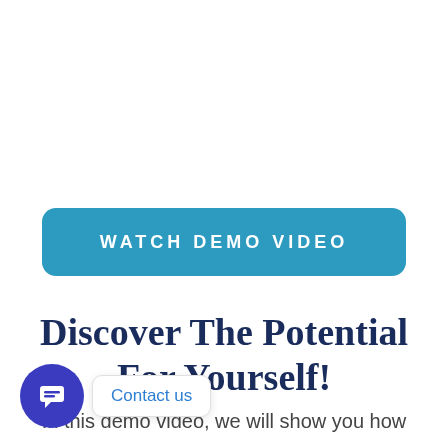[Figure (other): Blue rounded rectangle button with white uppercase text 'WATCH DEMO VIDEO']
Discover The Potential For Yourself!
In this demo video, we will show you how
[Figure (other): Chat widget with dark blue circular icon showing a chat/message symbol and a white bubble tooltip saying 'Contact us']